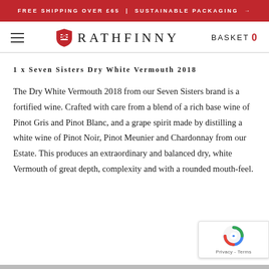FREE SHIPPING OVER £65 | SUSTAINABLE PACKAGING →
RATHFINNY  BASKET 0
1 x Seven Sisters Dry White Vermouth 2018
The Dry White Vermouth 2018 from our Seven Sisters brand is a fortified wine. Crafted with care from a blend of a rich base wine of Pinot Gris and Pinot Blanc, and a grape spirit made by distilling a white wine of Pinot Noir, Pinot Meunier and Chardonnay from our Estate. This produces an extraordinary and balanced dry, white Vermouth of great depth, complexity and with a rounded mouth-feel.